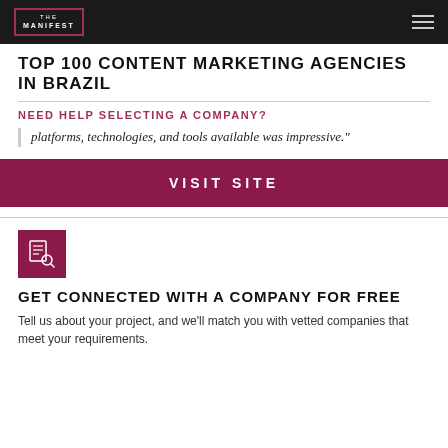THE MANIFEST
TOP 100 CONTENT MARKETING AGENCIES IN BRAZIL
NEED HELP SELECTING A COMPANY?
platforms, technologies, and tools available was impressive."
VISIT SITE
[Figure (illustration): Dark red/maroon icon of a document with a magnifying glass]
GET CONNECTED WITH A COMPANY FOR FREE
Tell us about your project, and we'll match you with vetted companies that meet your requirements.